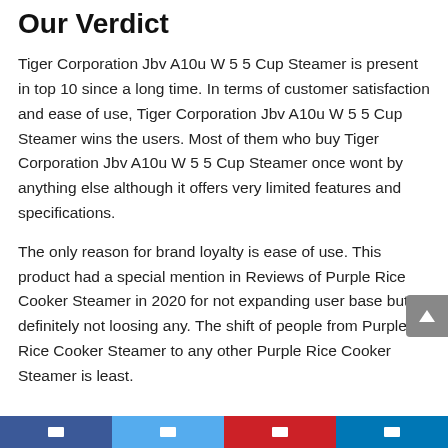Our Verdict
Tiger Corporation Jbv A10u W 5 5 Cup Steamer is present in top 10 since a long time. In terms of customer satisfaction and ease of use, Tiger Corporation Jbv A10u W 5 5 Cup Steamer wins the users. Most of them who buy Tiger Corporation Jbv A10u W 5 5 Cup Steamer once wont by anything else although it offers very limited features and specifications.
The only reason for brand loyalty is ease of use. This product had a special mention in Reviews of Purple Rice Cooker Steamer in 2020 for not expanding user base but definitely not loosing any. The shift of people from Purple Rice Cooker Steamer to any other Purple Rice Cooker Steamer is least.